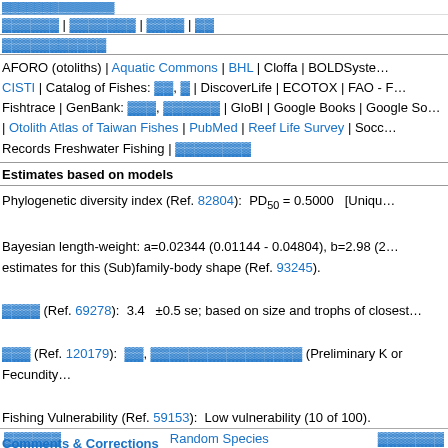▓▓▓▓▓▓▓▓▓▓▓▓▓▓
▓▓▓▓▓▓ | ▓▓▓▓▓▓▓ | ▓▓▓▓ | ▓▓
▓▓▓▓▓▓▓▓▓▓▓
AFORO (otoliths) | Aquatic Commons | BHL | Cloffa | BOLDSyste... CISTI | Catalog of Fishes: ▓▓, ▓ | DiscoverLife | ECOTOX | FAO - F... Fishtrace | GenBank: ▓▓▓, ▓▓▓▓▓▓ | GloBI | Google Books | Google So... | Otolith Atlas of Taiwan Fishes | PubMed | Reef Life Survey | Socc... Records Freshwater Fishing | ▓▓▓▓▓▓▓▓
Estimates based on models
Phylogenetic diversity index (Ref. 82804):  PD₅₀ = 0.5000   [Uniqu...
Bayesian length-weight: a=0.02344 (0.01144 - 0.04804), b=2.98 (2... estimates for this (Sub)family-body shape (Ref. 93245).
▓▓▓▓ (Ref. 69278):  3.4   ±0.5 se; based on size and trophs of closest...
▓▓▓ (Ref. 120179):  ▓▓, ▓▓▓▓▓▓▓▓▓▓▓▓▓▓▓▓ (Preliminary K or Fecundity...
Fishing Vulnerability (Ref. 59153):  Low vulnerability (10 of 100).
Comments & Corrections
▓▓▓▓▓▓   Random Species   ▓▓▓▓▓▓▓